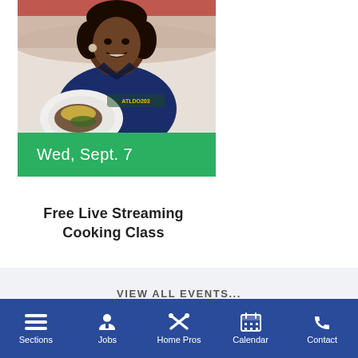[Figure (photo): Photo of a smiling woman holding a white plate with food, wearing a blue denim jacket. Below the photo is a green banner reading 'Wed, Sept. 7']
Free Live Streaming Cooking Class
VIEW ALL EVENTS...
Sections | Jobs | Home Pros | Calendar | Contact